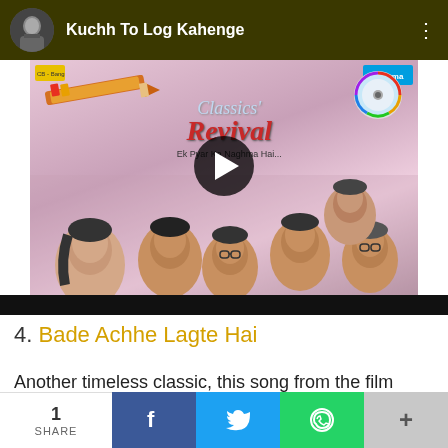[Figure (screenshot): YouTube-style video player showing album art for 'Classics Revival - Ek Pyar Ka Naghma Hai' with a play button overlay. Header shows channel name 'Kuchh To Log Kahenge' with avatar and more options icon. Album art features illustrated faces of classic Bollywood singers on a pink background with pencil and CD decoration.]
4. Bade Achhe Lagte Hai
Another timeless classic, this song from the film
1 SHARE  f  t  WhatsApp  +